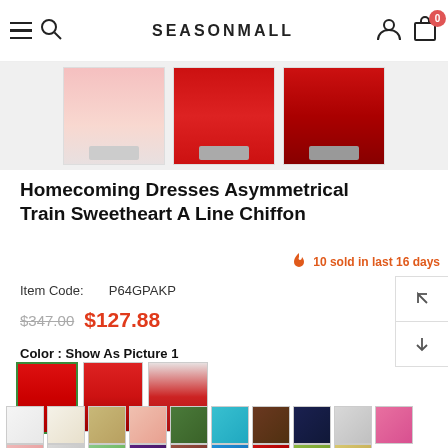SEASONMALL
[Figure (photo): Three product thumbnail images of homecoming dresses in red/pink]
Homecoming Dresses Asymmetrical Train Sweetheart A Line Chiffon
10 sold in last 16 days
Item Code: P64GPAKP
$347.00  $127.88
Color : Show As Picture 1
[Figure (photo): Three dress color option swatches (red dress images), first one selected with green checkmark]
[Figure (photo): Row of fabric color swatches: white, ivory, champagne, blush, green, teal, brown, navy, silver, pink]
[Figure (photo): Partial second row of fabric color swatches]